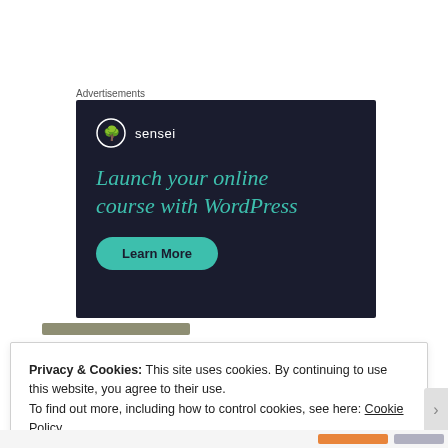Advertisements
[Figure (illustration): Sensei advertisement banner: dark navy background with Sensei logo (tree icon in circle) and brand name, headline 'Launch your online course with WordPress' in teal italic text, and a 'Learn More' teal rounded button.]
Privacy & Cookies: This site uses cookies. By continuing to use this website, you agree to their use.
To find out more, including how to control cookies, see here: Cookie Policy
Close and accept